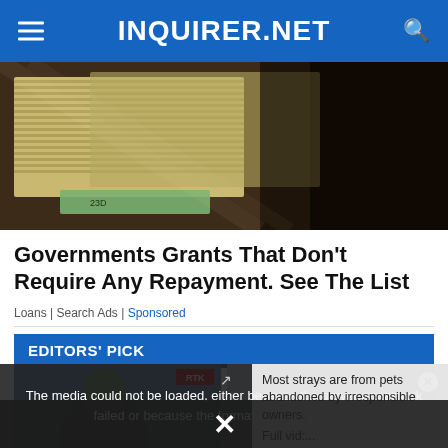INQUIRER.NET
[Figure (photo): Stack of Philippine peso bills bundled together, close-up shot]
Governments Grants That Don't Require Any Repayment. See The List
Loans | Search Ads | Sponsored
EDITORS' PICK
[Figure (screenshot): Video player overlay showing error message: The media could not be loaded, either because the server or network failed or because the format is not supported. Overlaid on thumbnail images in Editors Pick section with strays article text visible.]
Most strays are from pets abandoned by irresponsible owners. Full vid:...